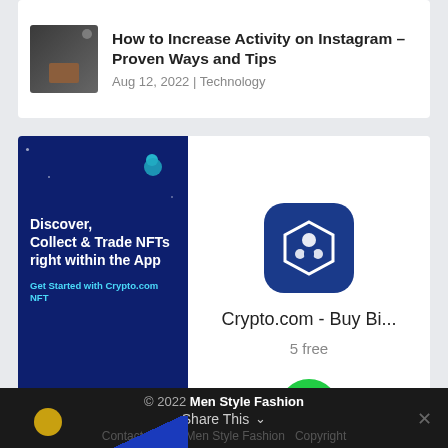How to Increase Activity on Instagram – Proven Ways and Tips
Aug 12, 2022 | Technology
[Figure (illustration): Crypto.com NFT advertisement banner showing dark blue space background with planets, text 'Discover, Collect & Trade NFTs right within the App', 'Get Started with Crypto.com NFT', and app store badges]
Crypto.com - Buy Bi...
5 free
© 2022 Men Style Fashion  Share This ∨  Contact  Team Men Style Fashion  Copyright